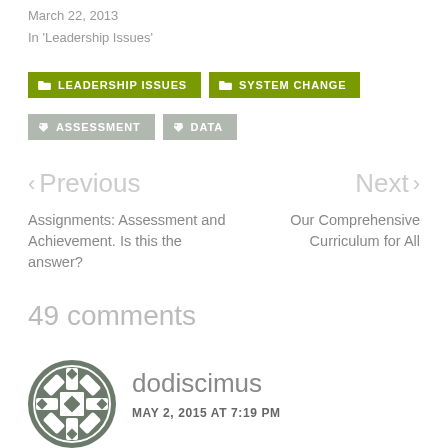March 22, 2013
In 'Leadership Issues'
LEADERSHIP ISSUES
SYSTEM CHANGE
ASSESSMENT
DATA
< Previous
Next >
Assignments: Assessment and Achievement. Is this the answer?
Our Comprehensive Curriculum for All
49 comments
dodiscimus
MAY 2, 2015 AT 7:19 PM